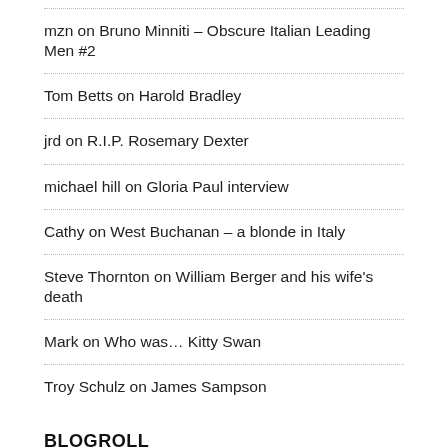mzn on Bruno Minniti – Obscure Italian Leading Men #2
Tom Betts on Harold Bradley
jrd on R.I.P. Rosemary Dexter
michael hill on Gloria Paul interview
Cathy on West Buchanan – a blonde in Italy
Steve Thornton on William Berger and his wife's death
Mark on Who was… Kitty Swan
Troy Schulz on James Sampson
BLOGROLL
Cinematografo Italian language database of all Italian Films European Trash Cinema Craig Ledbetter's excellent magazine ETC has now made it online... Giallo Fever Superb website about giallos and other Italian films